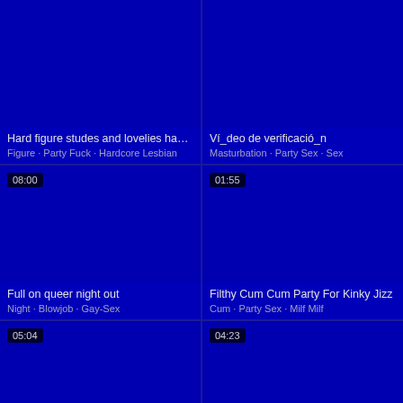[Figure (screenshot): Video thumbnail grid - top left: dark blue thumbnail with title 'Hard figure studes and lovelies have a', tags: Figure · Party Fuck · Hardcore Lesbian]
[Figure (screenshot): Video thumbnail grid - top right: dark blue thumbnail with title 'Ví_deo de verificació_n', tags: Masturbation · Party Sex · Sex]
[Figure (screenshot): Video thumbnail grid - middle left: dark blue thumbnail, duration 08:00, title 'Full on queer night out', tags: Night · Blowjob · Gay-Sex]
[Figure (screenshot): Video thumbnail grid - middle right: dark blue thumbnail, duration 01:55, title 'Filthy Cum Cum Party For Kinky Jizz', tags: Cum · Party Sex · Milf Milf]
[Figure (screenshot): Video thumbnail grid - bottom left: dark blue thumbnail, duration 05:04, partial]
[Figure (screenshot): Video thumbnail grid - bottom right: dark blue thumbnail, duration 04:23, partial]